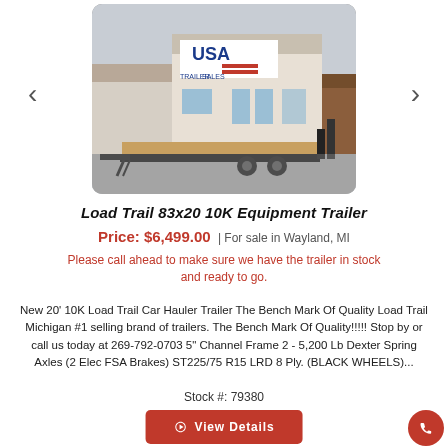[Figure (photo): Photo of a Load Trail flatbed equipment trailer parked in front of a USA Trailer Sales storefront. The trailer is black with a wood deck. The building has a large USA Trailer Sales sign.]
Load Trail 83x20 10K Equipment Trailer
Price: $6,499.00  |  For sale in Wayland, MI
Please call ahead to make sure we have the trailer in stock and ready to go.
New 20' 10K Load Trail Car Hauler Trailer The Bench Mark Of Quality Load Trail Michigan #1 selling brand of trailers. The Bench Mark Of Quality!!!!! Stop by or call us today at 269-792-0703 5" Channel Frame 2 - 5,200 Lb Dexter Spring Axles (2 Elec FSA Brakes) ST225/75 R15 LRD 8 Ply. (BLACK WHEELS)...
Stock #: 79380